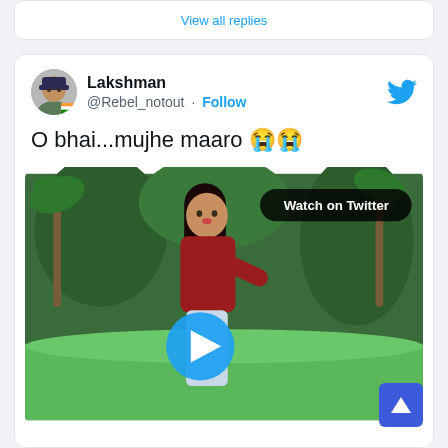[Figure (screenshot): Top portion of a Twitter/social media card partially visible at top of page]
[Figure (screenshot): Twitter post by @Rebel_notout (Lakshman) with text 'O bhai...mujhe maaro 😭😭' and an embedded video thumbnail showing a woman in a red top in a garden setting with a 'Watch on Twitter' badge and a blue play button]